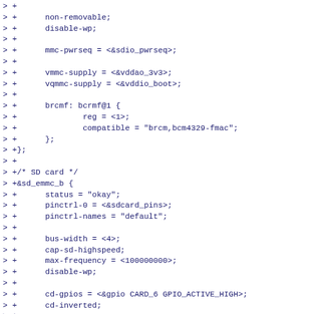> +
> +      non-removable;
> +      disable-wp;
> +
> +      mmc-pwrseq = <&sdio_pwrseq>;
> +
> +      vmmc-supply = <&vddao_3v3>;
> +      vqmmc-supply = <&vddio_boot>;
> +
> +      brcmf: bcrmf@1 {
> +              reg = <1>;
> +              compatible = "brcm,bcm4329-fmac";
> +      };
> +};
> +
> +/* SD card */
> +&sd_emmc_b {
> +      status = "okay";
> +      pinctrl-0 = <&sdcard_pins>;
> +      pinctrl-names = "default";
> +
> +      bus-width = <4>;
> +      cap-sd-highspeed;
> +      max-frequency = <100000000>;
> +      disable-wp;
> +
> +      cd-gpios = <&gpio CARD_6 GPIO_ACTIVE_HIGH>;
> +      cd-inverted;
> +
> +      vmmc-supply = <&vddao_3v3>;
> +      vqmmc-supply = <&vddio_boot>;